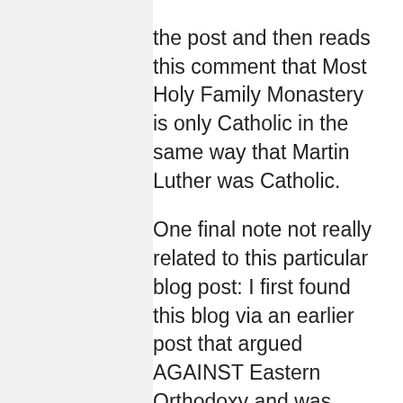the post and then reads this comment that Most Holy Family Monastery is only Catholic in the same way that Martin Luther was Catholic.

One final note not really related to this particular blog post: I first found this blog via an earlier post that argued AGAINST Eastern Orthodoxy and was confused by the blog's title. At some point, it might be worth it to go back to older posts like that and add a header mentioning you no longer endorse their contents